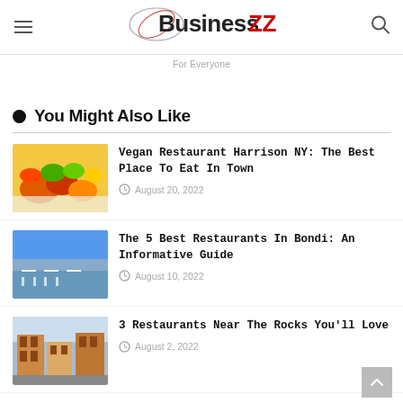BusinessZz
For Everyone
You Might Also Like
[Figure (photo): Colorful vegan food dish with vegetables and fruits]
Vegan Restaurant Harrison NY: The Best Place To Eat In Town
August 20, 2022
[Figure (photo): Outdoor restaurant by the sea with white chairs and tables]
The 5 Best Restaurants In Bondi: An Informative Guide
August 10, 2022
[Figure (photo): Half-timbered colorful buildings in a European town]
3 Restaurants Near The Rocks You'll Love
August 2, 2022